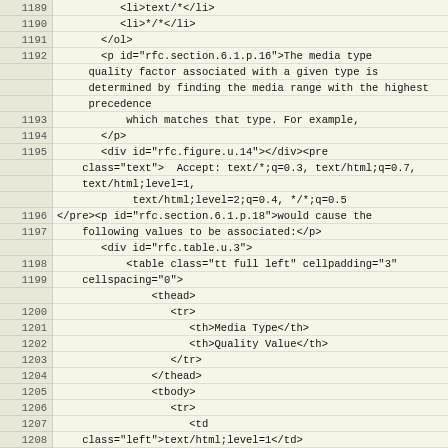Code listing lines 1189-1213 showing XML/HTML source for RFC document section 6.1, including media type quality factor description, Accept header example, and table structure with Media Type and Quality Value columns.